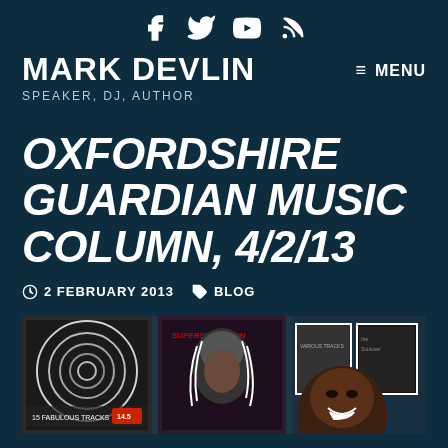[Figure (other): Social media icons: Facebook, Twitter, YouTube, RSS feed]
MARK DEVLIN
SPEAKER, DJ, AUTHOR
≡ MENU
OXFORDSHIRE GUARDIAN MUSIC COLUMN, 4/2/13
2 FEBRUARY 2013   BLOG
[Figure (photo): Photo of a man smiling in front of framed vinyl record album covers on a wall, including one labeled '15 Fabulous Tracks' and another reading 'Supersensation']